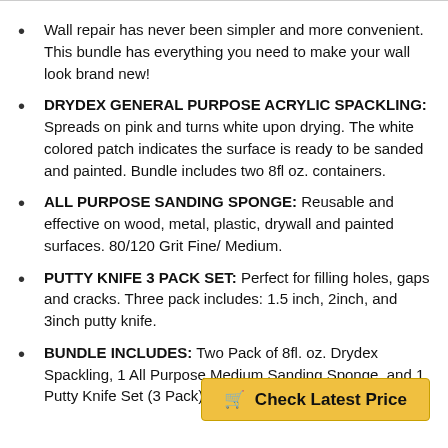Wall repair has never been simpler and more convenient. This bundle has everything you need to make your wall look brand new!
DRYDEX GENERAL PURPOSE ACRYLIC SPACKLING: Spreads on pink and turns white upon drying. The white colored patch indicates the surface is ready to be sanded and painted. Bundle includes two 8fl oz. containers.
ALL PURPOSE SANDING SPONGE: Reusable and effective on wood, metal, plastic, drywall and painted surfaces. 80/120 Grit Fine/ Medium.
PUTTY KNIFE 3 PACK SET: Perfect for filling holes, gaps and cracks. Three pack includes: 1.5 inch, 2inch, and 3inch putty knife.
BUNDLE INCLUDES: Two Pack of 8fl. oz. Drydex Spackling, 1 All Purpose Medium Sanding Sponge, and 1 Putty Knife Set (3 Pack).
Check Latest Price